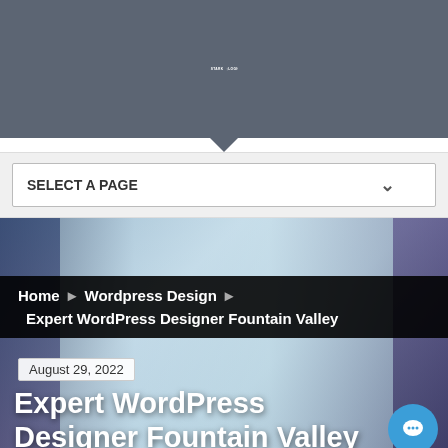STARK LOGIC
SELECT A PAGE
[Figure (screenshot): Blurred office interior background image for hero section]
Home ▶ Wordpress Design ▶
Expert WordPress Designer Fountain Valley
August 29, 2022
Expert WordPress Designer Fountain Valley